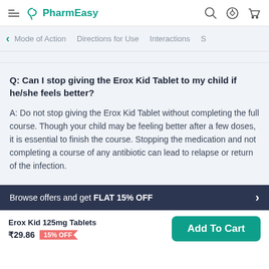PharmEasy
Mode of Action   Directions for Use   Interactions   S
Q: Can I stop giving the Erox Kid Tablet to my child if he/she feels better?
A: Do not stop giving the Erox Kid Tablet without completing the full course. Though your child may be feeling better after a few doses, it is essential to finish the course. Stopping the medication and not completing a course of any antibiotic can lead to relapse or return of the infection.
Browse offers and get FLAT 15% OFF
Erox Kid 125mg Tablets
₹29.86   15% OFF   Add To Cart